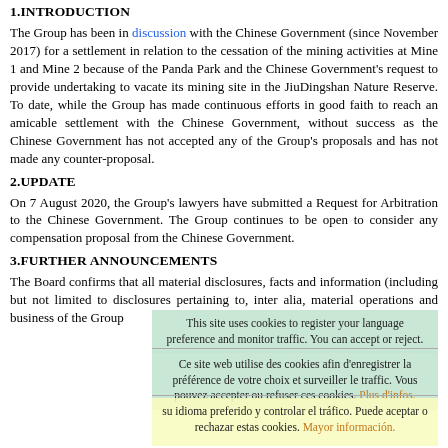1.INTRODUCTION
The Group has been in discussion with the Chinese Government (since November 2017) for a settlement in relation to the cessation of the mining activities at Mine 1 and Mine 2 because of the Panda Park and the Chinese Government's request to provide undertaking to vacate its mining site in the JiuDingshan Nature Reserve. To date, while the Group has made continuous efforts in good faith to reach an amicable settlement with the Chinese Government, without success as the Chinese Government has not accepted any of the Group's proposals and has not made any counter-proposal.
2.UPDATE
On 7 August 2020, the Group's lawyers have submitted a Request for Arbitration to the Chinese Government. The Group continues to be open to consider any compensation proposal from the Chinese Government.
3.FURTHER ANNOUNCEMENTS
The Board confirms that all material disclosures, facts and information (including but not limited to disclosures pertaining to, inter alia, material operations and business of the Group